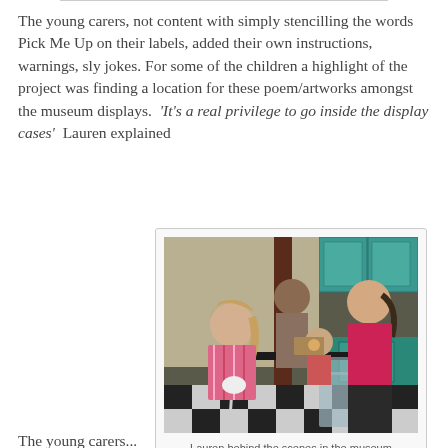The young carers, not content with simply stencilling the words Pick Me Up on their labels, added their own instructions, warnings, sly jokes. For some of the children a highlight of the project was finding a location for these poem/artworks amongst the museum displays.  'It's a real privilege to go inside the display cases'  Lauren explained
[Figure (photo): Children and an adult in a museum scene that resembles a vintage kitchen/diner setting with teal cabinets, checkered floor, and diner-style furniture. A girl in a pink striped shirt holds something white, another child sits at a table, and a teenager in a magenta shirt stands on the right side. An adult figure is visible in the background.]
Lauren behind the scenes in the museum
The young carers...